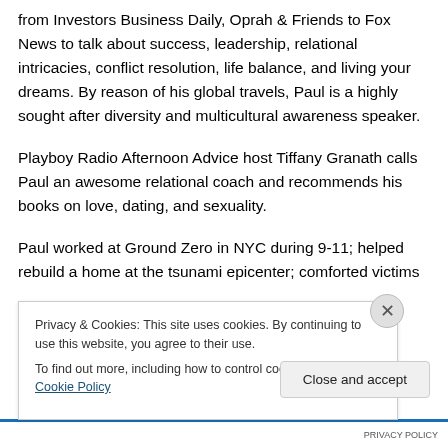from Investors Business Daily, Oprah & Friends to Fox News to talk about success, leadership, relational intricacies, conflict resolution, life balance, and living your dreams. By reason of his global travels, Paul is a highly sought after diversity and multicultural awareness speaker.
Playboy Radio Afternoon Advice host Tiffany Granath calls Paul an awesome relational coach and recommends his books on love, dating, and sexuality.
Paul worked at Ground Zero in NYC during 9-11; helped rebuild a home at the tsunami epicenter; comforted victims
Privacy & Cookies: This site uses cookies. By continuing to use this website, you agree to their use.
To find out more, including how to control cookies, see here: Cookie Policy